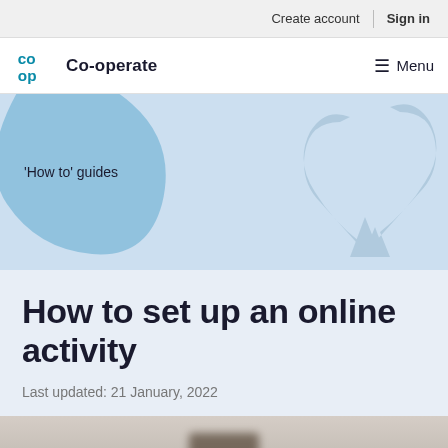Create account | Sign in
Co-operate  Menu
'How to' guides
How to set up an online activity
Last updated: 21 January, 2022
[Figure (photo): Blurred bottom section showing what appears to be a device or object in a beige/tan environment]